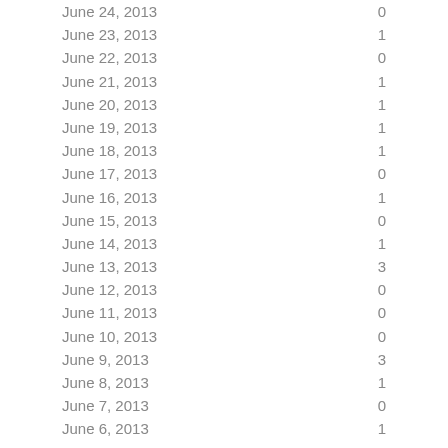| Date | Value |
| --- | --- |
| June 24, 2013 | 0 |
| June 23, 2013 | 1 |
| June 22, 2013 | 0 |
| June 21, 2013 | 1 |
| June 20, 2013 | 1 |
| June 19, 2013 | 1 |
| June 18, 2013 | 1 |
| June 17, 2013 | 0 |
| June 16, 2013 | 1 |
| June 15, 2013 | 0 |
| June 14, 2013 | 1 |
| June 13, 2013 | 3 |
| June 12, 2013 | 0 |
| June 11, 2013 | 0 |
| June 10, 2013 | 0 |
| June 9, 2013 | 3 |
| June 8, 2013 | 1 |
| June 7, 2013 | 0 |
| June 6, 2013 | 1 |
| June 5, 2013 | 0 |
| June 4, 2013 | 0 |
| June 3, 2013 | 2 |
| June 2, 2013 | 0 |
| June 1, 2013 | … |